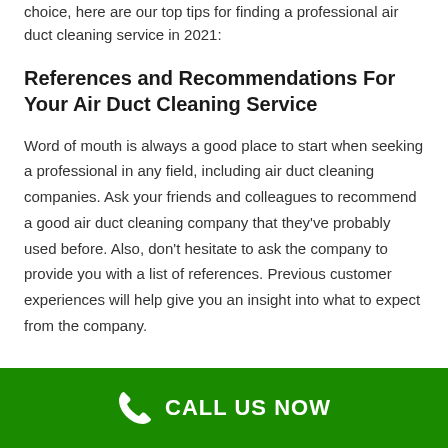choice, here are our top tips for finding a professional air duct cleaning service in 2021:
References and Recommendations For Your Air Duct Cleaning Service
Word of mouth is always a good place to start when seeking a professional in any field, including air duct cleaning companies. Ask your friends and colleagues to recommend a good air duct cleaning company that they've probably used before. Also, don't hesitate to ask the company to provide you with a list of references. Previous customer experiences will help give you an insight into what to expect from the company.
CALL US NOW